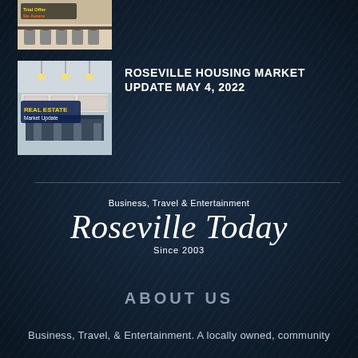[Figure (photo): Partial thumbnail of a bar stools / kitchen image with text overlay 'Be Aware']
[Figure (photo): Real Estate Market Update thumbnail showing modern kitchen with text 'REAL ESTATE Market Update']
ROSEVILLE HOUSING MARKET UPDATE MAY 4, 2022
Business, Travel & Entertainment
Roseville Today
Since 2003
ABOUT US
Business, Travel, & Entertainment. A locally owned, community